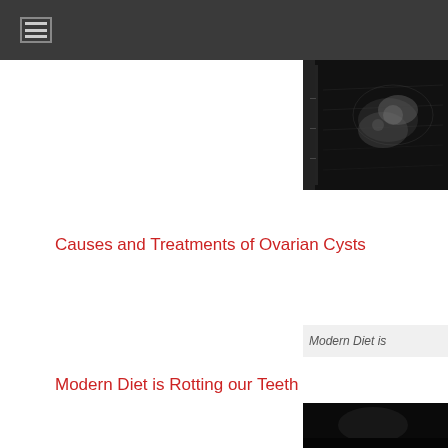[Figure (photo): Ultrasound image, partially visible at top right corner of page]
Causes and Treatments of Ovarian Cysts
[Figure (photo): Image with alt text 'Modern Diet is' visible at right side]
Modern Diet is Rotting our Teeth
[Figure (photo): Dark image at bottom right corner, partially visible]